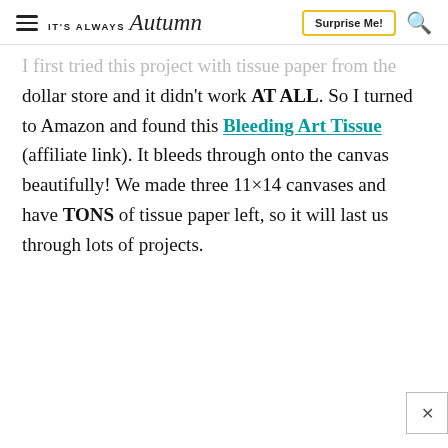IT'S ALWAYS Autumn | Surprise Me! [search icon]
I first tried this project with tissue paper from the dollar store and it didn't work AT ALL. So I turned to Amazon and found this Bleeding Art Tissue (affiliate link). It bleeds through onto the canvas beautifully! We made three 11×14 canvases and have TONS of tissue paper left, so it will last us through lots of projects.